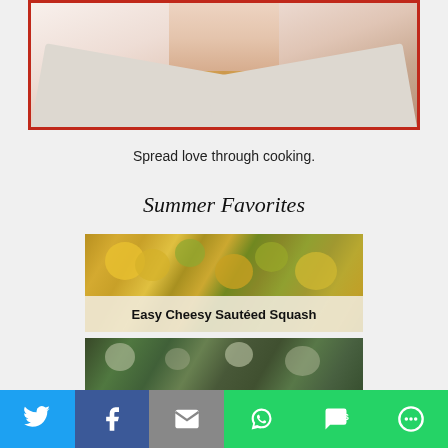[Figure (photo): Partial portrait photo of a person, showing neck and upper torso wearing a light-colored shirt, with red border frame]
Spread love through cooking.
Summer Favorites
[Figure (photo): Food photo of Easy Cheesy Sautéed Squash — colorful sautéed yellow squash and zucchini in a pan, with label overlay]
[Figure (photo): Food photo of a dish with green herbs, potatoes, and sauce in a bowl]
[Figure (infographic): Social sharing bar with Twitter, Facebook, Email, WhatsApp, SMS, and More buttons]